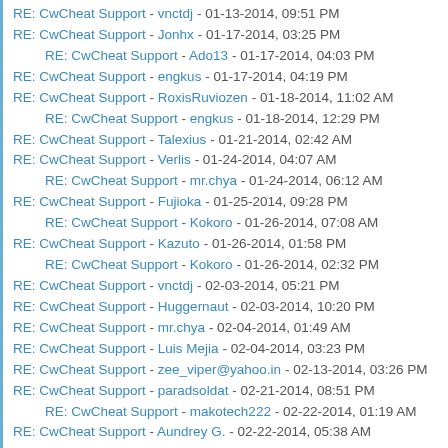RE: CwCheat Support - vnctdj - 01-13-2014, 09:51 PM
RE: CwCheat Support - Jonhx - 01-17-2014, 03:25 PM
RE: CwCheat Support - Ado13 - 01-17-2014, 04:03 PM
RE: CwCheat Support - engkus - 01-17-2014, 04:19 PM
RE: CwCheat Support - RoxisRuviozen - 01-18-2014, 11:02 AM
RE: CwCheat Support - engkus - 01-18-2014, 12:29 PM
RE: CwCheat Support - Talexius - 01-21-2014, 02:42 AM
RE: CwCheat Support - Verlis - 01-24-2014, 04:07 AM
RE: CwCheat Support - mr.chya - 01-24-2014, 06:12 AM
RE: CwCheat Support - Fujioka - 01-25-2014, 09:28 PM
RE: CwCheat Support - Kokoro - 01-26-2014, 07:08 AM
RE: CwCheat Support - Kazuto - 01-26-2014, 01:58 PM
RE: CwCheat Support - Kokoro - 01-26-2014, 02:32 PM
RE: CwCheat Support - vnctdj - 02-03-2014, 05:21 PM
RE: CwCheat Support - Huggernaut - 02-03-2014, 10:20 PM
RE: CwCheat Support - mr.chya - 02-04-2014, 01:49 AM
RE: CwCheat Support - Luis Mejia - 02-04-2014, 03:23 PM
RE: CwCheat Support - zee_viper@yahoo.in - 02-13-2014, 03:26 PM
RE: CwCheat Support - paradsoldat - 02-21-2014, 08:51 PM
RE: CwCheat Support - makotech222 - 02-22-2014, 01:19 AM
RE: CwCheat Support - Aundrey G. - 02-22-2014, 05:38 AM
RE: CwCheat Support - makotech222 - 02-22-2014, 03:54 PM
RE: CwCheat Support - Heat066 - 02-22-2014, 09:32 PM
RE: CwCheat Support - makotech222 - 02-23-2014, 07:16 PM
RE: CwCheat Support - Heat066 - 02-23-2014, 08:50 PM